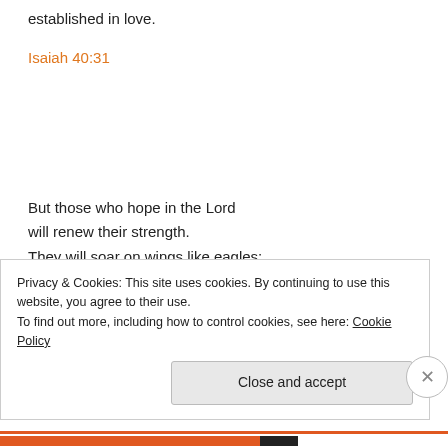established in love.
Isaiah 40:31
But those who hope in the Lord
will renew their strength.
They will soar on wings like eagles;
they will run and not grow weary,
Privacy & Cookies: This site uses cookies. By continuing to use this website, you agree to their use.
To find out more, including how to control cookies, see here: Cookie Policy
Close and accept